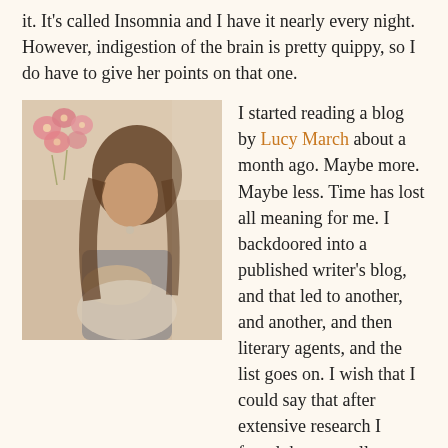it. It's called Insomnia and I have it nearly every night. However, indigestion of the brain is pretty quippy, so I do have to give her points on that one.
[Figure (photo): A woman with long brown hair sitting by a window, wearing a grey top and light-colored pants, with pink flowers visible in the upper left corner. Warm, soft-focus photography style.]
I started reading a blog by Lucy March about a month ago. Maybe more. Maybe less. Time has lost all meaning for me. I backdoored into a published writer's blog, and that led to another, and another, and then literary agents, and the list goes on. I wish that I could say that after extensive research I found these excellent websites. Nope. It was sheer luck, because I don't have a clue what I am doing on here. It is six months now, and I still don't get this site. That is really sad and I know it, but I am really shooting for honesty here and that is the truth.
Anyway, back to Lucy March... she is a published writer, so I checked out her site. I was really into my novel at that time and adding writers left and right. Turns out she is a